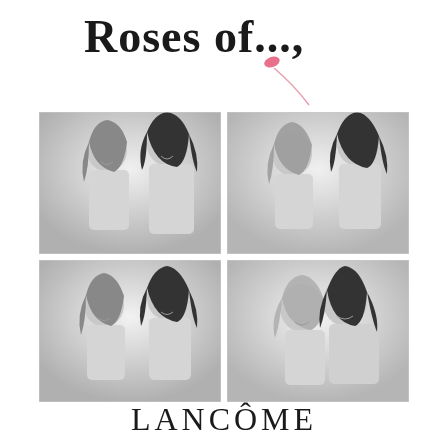Roses of...,
[Figure (photo): Four black and white photo booth style photos arranged in a 2x2 grid showing two young women posing together in various poses. Top left: both women smiling, one with lighter hair, one with dark curly hair. Top right: women making playful faces. Bottom left: women smiling and posing. Bottom right: women together cheek-to-cheek smiling.]
[Figure (logo): LANCÔME brand logo in elegant serif font]